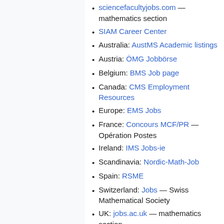sciencefacultyjobs.com — mathematics section
SIAM Career Center
Australia: AustMS Academic listings
Austria: ÖMG Jobbörse
Belgium: BMS Job page
Canada: CMS Employment Resources
Europe: EMS Jobs
France: Concours MCF/PR — Opération Postes
Ireland: IMS Jobs-ie
Scandinavia: Nordic-Math-Job
Spain: RSME
Switzerland: Jobs — Swiss Mathematical Society
UK: jobs.ac.uk — mathematics section
Other jobs wikis and rumor mills
Theoretical Particle Physics Jobs Rumor Mill
Astrophysics Jobs Rumor Wiki